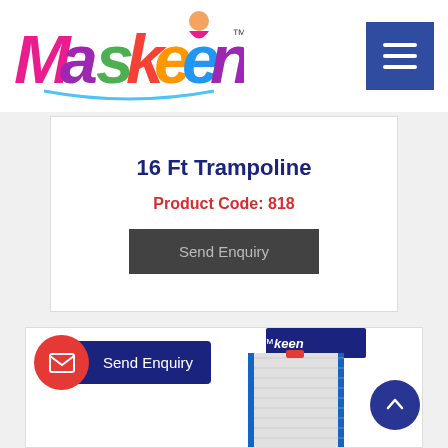Maskeen (logo) | hamburger menu
16 Ft Trampoline
Product Code: 818
Send Enquiry
[Figure (photo): Product image of trampoline with blue padding, partially visible, Maskeen logo overlay at top]
Send Enquiry (floating button)